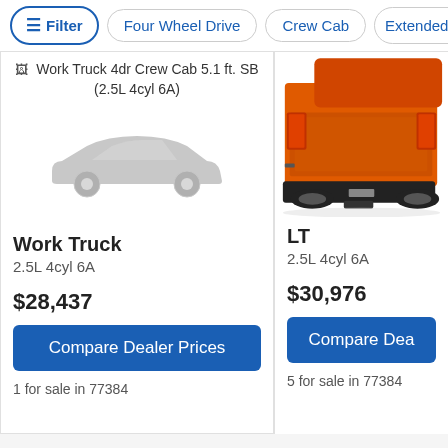Filter | Four Wheel Drive | Crew Cab | Extended C>
[Figure (screenshot): Car listing card for Work Truck 4dr Crew Cab 5.1 ft. SB (2.5L 4cyl 6A) with gray placeholder car silhouette]
Work Truck
2.5L 4cyl 6A
$28,437
Compare Dealer Prices
1 for sale in 77384
[Figure (photo): Rear view of an orange pickup truck (LT trim)]
LT
2.5L 4cyl 6A
$30,976
Compare Dea
5 for sale in 77384